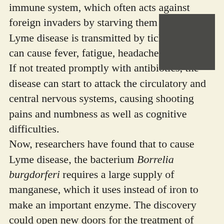immune system, which often acts against foreign invaders by starving them of iron. Lyme disease is transmitted by tick bites and can cause fever, fatigue, headaches and rashes. If not treated promptly with antibiotics, the disease can start to attack the circulatory and central nervous systems, causing shooting pains and numbness as well as cognitive difficulties.
Now, researchers have found that to cause Lyme disease, the bacterium Borrelia burgdorferi requires a large supply of manganese, which it uses instead of iron to make an important enzyme. The discovery could open new doors for the treatment of Lyme disease, said study researcher Valeria Culotta, a molecular biologist at the Johns Hopkins University Bloomberg School of Public Health. "The only therapy for Lyme Disease right now are antibiotics like penicillin, which are effective
[Figure (photo): A dark gray/charcoal colored rectangular image block in the upper right area of the page.]